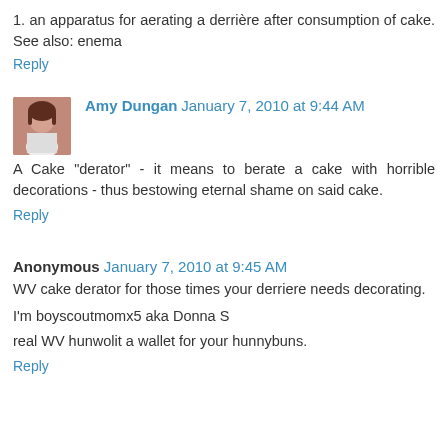1. an apparatus for aerating a derrière after consumption of cake. See also: enema
Reply
Amy Dungan January 7, 2010 at 9:44 AM
A Cake "derator" - it means to berate a cake with horrible decorations - thus bestowing eternal shame on said cake.
Reply
Anonymous January 7, 2010 at 9:45 AM
WV cake derator for those times your derriere needs decorating.
I'm boyscoutmomx5 aka Donna S
real WV hunwolit a wallet for your hunnybuns.
Reply